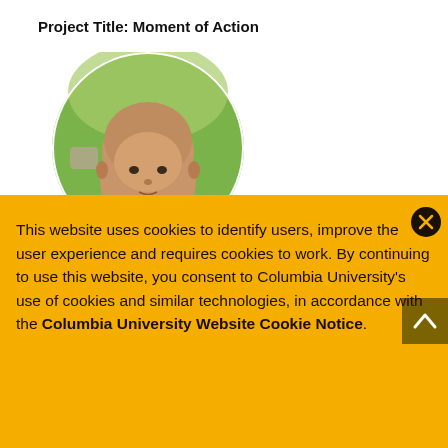Project Title: Moment of Action
[Figure (photo): Circular portrait photo of a bald person outdoors with green foliage in background]
This website uses cookies to identify users, improve the user experience and requires cookies to work. By continuing to use this website, you consent to Columbia University's use of cookies and similar technologies, in accordance with the Columbia University Website Cookie Notice.